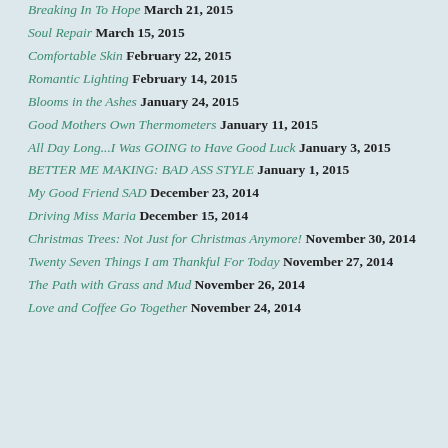Breaking In To Hope March 21, 2015
Soul Repair March 15, 2015
Comfortable Skin February 22, 2015
Romantic Lighting February 14, 2015
Blooms in the Ashes January 24, 2015
Good Mothers Own Thermometers January 11, 2015
All Day Long...I Was GOING to Have Good Luck January 3, 2015
BETTER ME MAKING: BAD ASS STYLE January 1, 2015
My Good Friend SAD December 23, 2014
Driving Miss Maria December 15, 2014
Christmas Trees: Not Just for Christmas Anymore! November 30, 2014
Twenty Seven Things I am Thankful For Today November 27, 2014
The Path with Grass and Mud November 26, 2014
Love and Coffee Go Together November 24, 2014